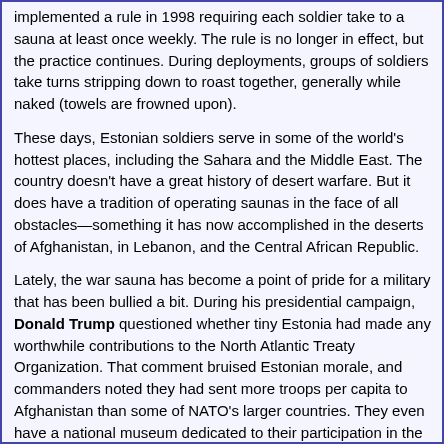implemented a rule in 1998 requiring each soldier take to a sauna at least once weekly. The rule is no longer in effect, but the practice continues. During deployments, groups of soldiers take turns stripping down to roast together, generally while naked (towels are frowned upon).
These days, Estonian soldiers serve in some of the world's hottest places, including the Sahara and the Middle East. The country doesn't have a great history of desert warfare. But it does have a tradition of operating saunas in the face of all obstacles—something it has now accomplished in the deserts of Afghanistan, in Lebanon, and the Central African Republic.
Lately, the war sauna has become a point of pride for a military that has been bullied a bit. During his presidential campaign, Donald Trump questioned whether tiny Estonia had made any worthwhile contributions to the North Atlantic Treaty Organization. That comment bruised Estonian morale, and commanders noted they had sent more troops per capita to Afghanistan than some of NATO's larger countries. They even have a national museum dedicated to their participation in the Afghan war.
By the way, this strong attachment to saunas is not limited to Estonia, but is shared by most Scandinavian countries. FYI, every Finnish warship packs a sauna, usually several. Most have aspen wood interiors. Unfortunately, when the Estonian and Finnish NATO troops repeatedly invited the Irish troops serving with them in Lebanon, to join them in the sauna, they